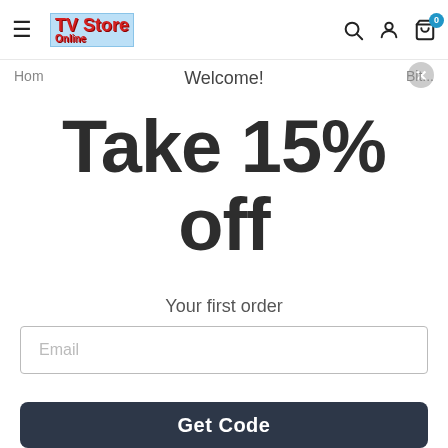[Figure (logo): TV Store Online logo with red text on blue background]
Welcome!
Hom
Bit...
Take 15% off
Your first order
Email
Get Code